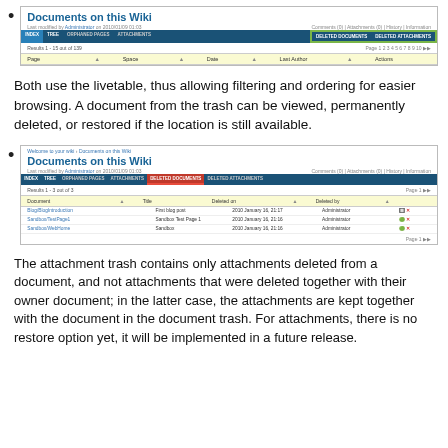Screenshot of Documents on this Wiki page showing the deleted documents tab highlighted
Both use the livetable, thus allowing filtering and ordering for easier browsing. A document from the trash can be viewed, permanently deleted, or restored if the location is still available.
Screenshot of Documents on this Wiki page showing deleted documents list with Blog/BlogIntroduction, Sandbox/TestPage1, Sandbox/WebHome entries
The attachment trash contains only attachments deleted from a document, and not attachments that were deleted together with their owner document; in the latter case, the attachments are kept together with the document in the document trash. For attachments, there is no restore option yet, it will be implemented in a future release.